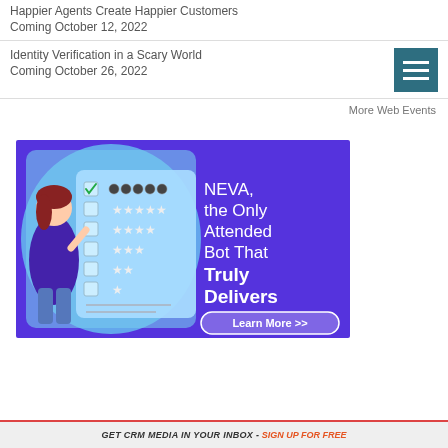Happier Agents Create Happier Customers
Coming October 12, 2022
Identity Verification in a Scary World
Coming October 26, 2022
More Web Events
[Figure (illustration): NEVA advertisement banner: purple background with 3D animated woman character next to a checklist with star ratings and robot icons. Text reads: NEVA, the Only Attended Bot That Truly Delivers. Learn More >> button.]
GET CRM MEDIA IN YOUR INBOX - SIGN UP FOR FREE